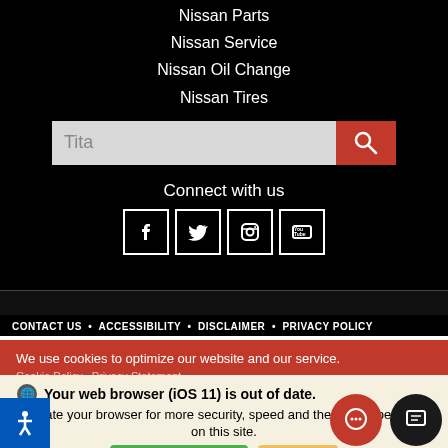Nissan Parts
Nissan Service
Nissan Oil Change
Nissan Tires
[Figure (screenshot): Search input box with placeholder text 'Tita' and a red search button with magnifying glass icon]
Connect with us
[Figure (infographic): Social media icons: Facebook, Twitter, Instagram, YouTube]
CONTACT US • ACCESSIBILITY • DISCLAIMER • PRIVACY POLICY
We use cookies to optimize our website and our service.
Cookie Policy · Privacy Statement
Your web browser (iOS 11) is out of date.
Update your browser for more security, speed and the best experience on this site.
Update browser   Ignore